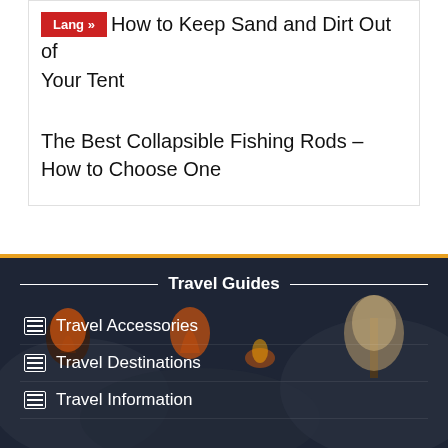How to Keep Sand and Dirt Out of Your Tent
The Best Collapsible Fishing Rods – How to Choose One
Travel Guides
Travel Accessories
Travel Destinations
Travel Information